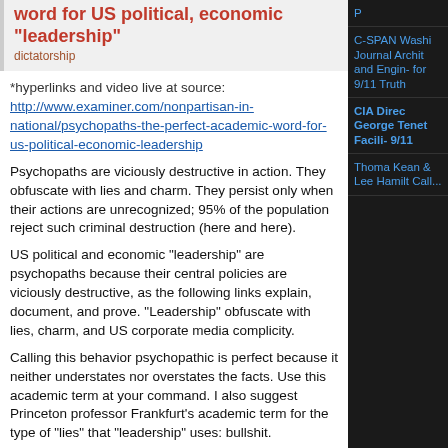word for US political, economic “leadership”
dictatorship
*hyperlinks and video live at source: http://www.examiner.com/nonpartisan-in-national/psychopaths-the-perfect-academic-word-for-us-political-economic-leadership
Psychopaths are viciously destructive in action. They obfuscate with lies and charm. They persist only when their actions are unrecognized; 95% of the population reject such criminal destruction (here and here).
US political and economic “leadership” are psychopaths because their central policies are viciously destructive, as the following links explain, document, and prove. “Leadership” obfuscate with lies, charm, and US corporate media complicity.
Calling this behavior psychopathic is perfect because it neither understates nor overstates the facts. Use this academic term at your command. I also suggest Princeton professor Frankfurt’s academic term for the type of “lies” that “leadership” uses: bullshit.
“As I grow older, I pay less attention to what men say. I just watch what they do.” - unsourced and attributed to Andrew Carnegie
C-SPAN Washington Journal Architects and Engineers for 9/11 Truth
CIA Director George Tenet Facilitating 9/11
Thomas Kean & Lee Hamilton Calling...